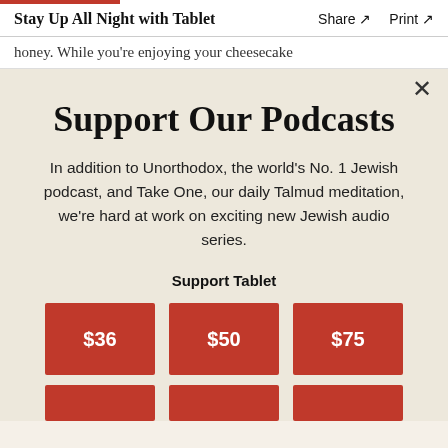Stay Up All Night with Tablet  Share ↗  Print ↗
honey. While you're enjoying your cheesecake
Support Our Podcasts
In addition to Unorthodox, the world's No. 1 Jewish podcast, and Take One, our daily Talmud meditation, we're hard at work on exciting new Jewish audio series.
Support Tablet
$36  $50  $75